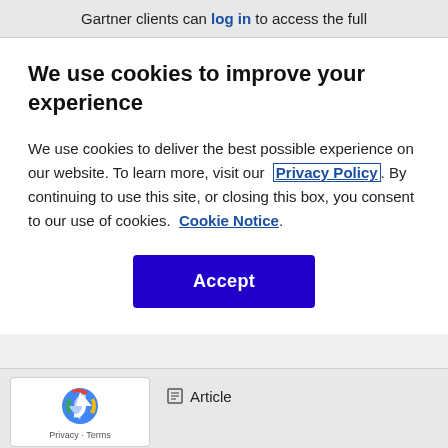Gartner clients can log in to access the full
We use cookies to improve your experience
We use cookies to deliver the best possible experience on our website. To learn more, visit our  Privacy Policy. By continuing to use this site, or closing this box, you consent to our use of cookies.  Cookie Notice.
Accept
[Figure (logo): reCAPTCHA logo with Privacy and Terms text]
Article